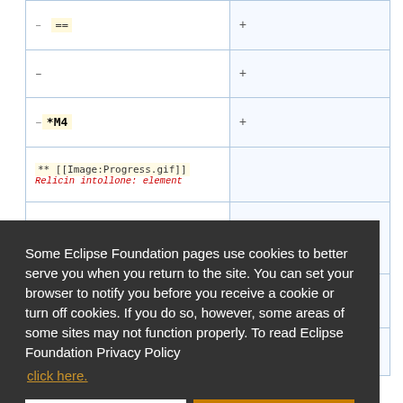[Figure (screenshot): Partial view of a wiki diff/comparison table with left and right columns. Left column shows wiki markup lines including '==', '-', '-*M4', '** [[Image:Progress.gif]]'. Right column shows '+' symbols. Bottom row shows '** [[Image:Ok_green.gif]]'.]
Some Eclipse Foundation pages use cookies to better serve you when you return to the site. You can set your browser to notify you before you receive a cookie or turn off cookies. If you do so, however, some areas of some sites may not function properly. To read Eclipse Foundation Privacy Policy click here.